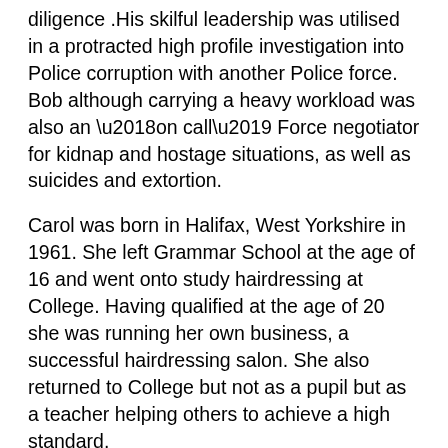diligence .His skilful leadership was utilised in a protracted high profile investigation into Police corruption with another Police force. Bob although carrying a heavy workload was also an ‘on call’ Force negotiator for kidnap and hostage situations, as well as suicides and extortion.
Carol was born in Halifax, West Yorkshire in 1961. She left Grammar School at the age of 16 and went onto study hairdressing at College. Having qualified at the age of 20 she was running her own business, a successful hairdressing salon. She also returned to College but not as a pupil but as a teacher helping others to achieve a high standard.